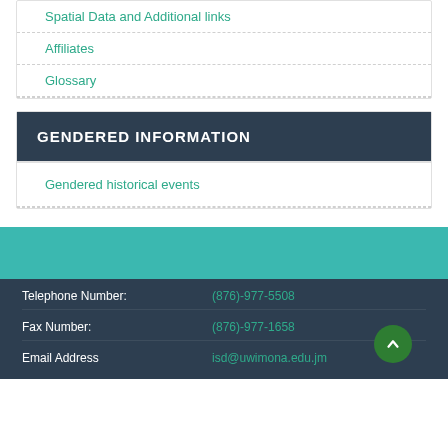Spatial Data and Additional links
Affiliates
Glossary
GENDERED INFORMATION
Gendered historical events
Telephone Number: (876)-977-5508
Fax Number: (876)-977-1658
Email Address isd@uwimona.edu.jm